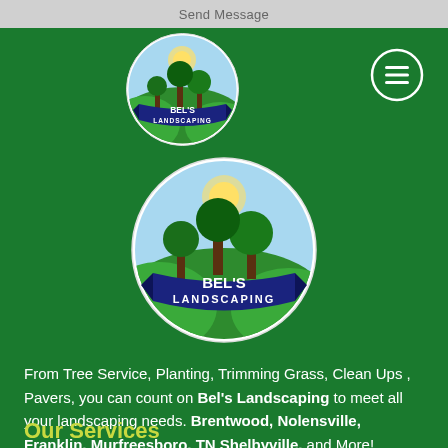Send Message
[Figure (logo): Bel's Landscaping circular logo - small, top left area. Shows green landscape with trees and blue ribbon banner reading BEL'S LANDSCAPING]
[Figure (logo): Hamburger menu icon - circle with three horizontal lines, white outline on green background]
[Figure (logo): Bel's Landscaping circular logo - large, center. Shows green landscape with trees and blue ribbon banner reading BEL'S LANDSCAPING]
From Tree Service, Planting, Trimming Grass, Clean Ups , Pavers, you can count on Bel's Landscaping to meet all your landscaping needs. Brentwood, Nolensville, Franklin, Murfreesboro, TN Shelbyville, and More!
Our Services